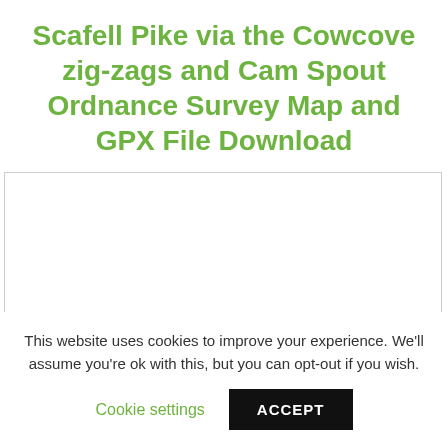Scafell Pike via the Cowcove zig-zags and Cam Spout Ordnance Survey Map and GPX File Download
[Figure (map): Ordnance Survey map placeholder area showing route for Scafell Pike via Cowcove zig-zags and Cam Spout]
This website uses cookies to improve your experience. We'll assume you're ok with this, but you can opt-out if you wish.